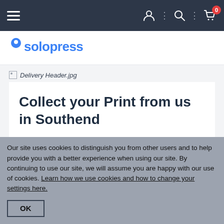Solopress navigation bar with hamburger menu, user icon, search icon, and cart icon with badge 0
[Figure (logo): Solopress logo with blue map pin icon and blue text 'solopress']
[Figure (photo): Broken image placeholder labeled 'Delivery Header.jpg']
Collect your Print from us in Southend
With Click & Collect at Solopress, you can place your order online and then...
[Figure (other): Blue chat widget button with red badge showing 2]
Our site uses cookies to distinguish you from other users and to help provide you with a better experience when using our site. By continuing to use our site, we will assume you are happy with our use of cookies. Learn how we use cookies and how to change your settings here.